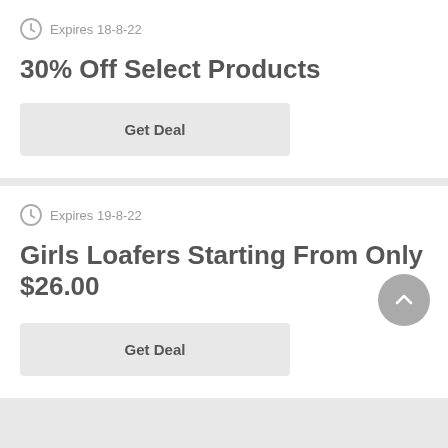Expires 18-8-22
30% Off Select Products
Get Deal
Expires 19-8-22
Girls Loafers Starting From Only $26.00
Get Deal